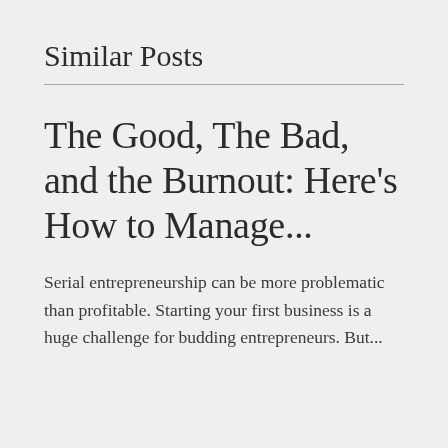Similar Posts
The Good, The Bad, and the Burnout: Here's How to Manage...
Serial entrepreneurship can be more problematic than profitable. Starting your first business is a huge challenge for budding entrepreneurs. But...